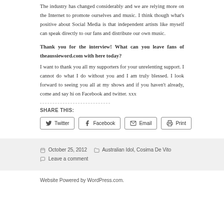The industry has changed considerably and we are relying more on the Internet to promote ourselves and music. I think though what’s positive about Social Media is that independent artists like myself can speak directly to our fans and distribute our own music.
Thank you for the interview! What can you leave fans of theaussieword.com with here today?
I want to thank you all my supporters for your unrelenting support. I cannot do what I do without you and I am truly blessed. I look forward to seeing you all at my shows and if you haven’t already, come and say hi on Facebook and twitter. xxx
SHARE THIS:
[Figure (other): Share buttons: Twitter, Facebook, Email, Print]
October 25, 2012  Australian Idol, Cosima De Vito  Leave a comment
Website Powered by WordPress.com.